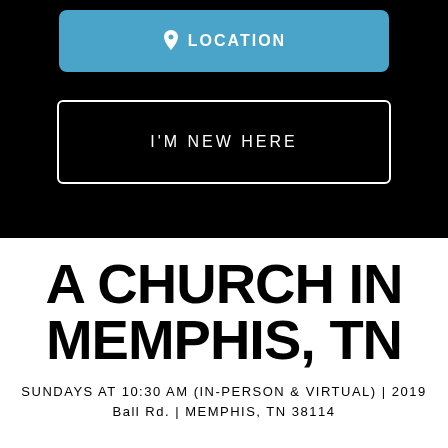[Figure (screenshot): Blue button with map pin icon and text LOCATION]
I'M NEW HERE
A CHURCH IN MEMPHIS, TN
SUNDAYS AT 10:30 AM (IN-PERSON & VIRTUAL) | 2019 Ball Rd. | MEMPHIS, TN 38114